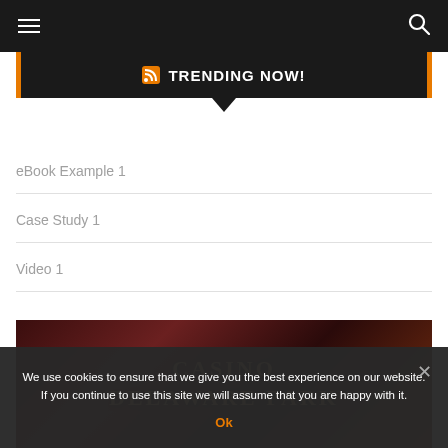Navigation bar with hamburger menu and search icon
TRENDING NOW!
eBook Example 1
Case Study 1
Video 1
[Figure (photo): Casino Delaware Park promotional image with decorative text]
We use cookies to ensure that we give you the best experience on our website. If you continue to use this site we will assume that you are happy with it.
Ok